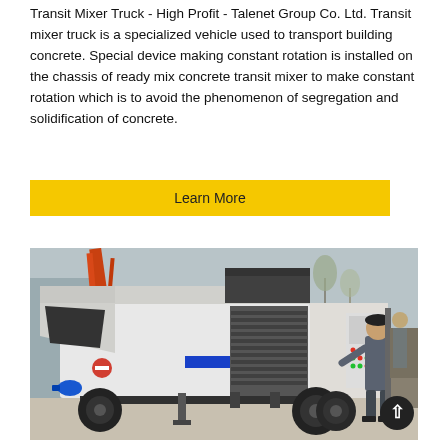Transit Mixer Truck - High Profit - Talenet Group Co. Ltd. Transit mixer truck is a specialized vehicle used to transport building concrete. Special device making constant rotation is installed on the chassis of ready mix concrete transit mixer to make constant rotation which is to avoid the phenomenon of segregation and solidification of concrete.
[Figure (other): Yellow 'Learn More' button]
[Figure (photo): A white concrete pump machine/trailer with a man in grey work clothes inspecting it. A blue electrical connector is visible on the left, a red-orange crane is visible in the background on the left. The machine has a hopper, control panel with buttons, and large rubber wheels.]